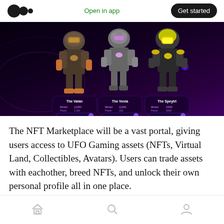Open in app | Get started
[Figure (screenshot): NFT Marketplace screenshot showing three robot/mech characters: The Valan, The Voxia, and The Speytrl on a dark purple/black background with card UI elements beneath each character]
The NFT Marketplace will be a vast portal, giving users access to UFO Gaming assets (NFTs, Virtual Land, Collectibles, Avatars). Users can trade assets with eachother, breed NFTs, and unlock their own personal profile all in one place.
Home | Search | Profile